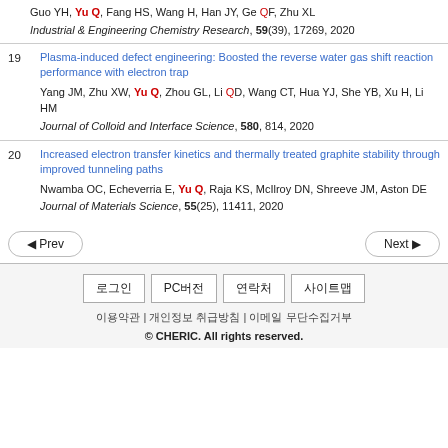Guo YH, Yu Q, Fang HS, Wang H, Han JY, Ge QF, Zhu XL
Industrial & Engineering Chemistry Research, 59(39), 17269, 2020
19. Plasma-induced defect engineering: Boosted the reverse water gas shift reaction performance with electron trap
Yang JM, Zhu XW, Yu Q, Zhou GL, Li QD, Wang CT, Hua YJ, She YB, Xu H, Li HM
Journal of Colloid and Interface Science, 580, 814, 2020
20. Increased electron transfer kinetics and thermally treated graphite stability through improved tunneling paths
Nwamba OC, Echeverria E, Yu Q, Raja KS, McIlroy DN, Shreeve JM, Aston DE
Journal of Materials Science, 55(25), 11411, 2020
Prev | Next (navigation buttons)
로그인 | PC버전 | 연락처 | 사이트맵
이용약관 | 개인정보 취급방침 | 이메일 무단수집거부
© CHERIC. All rights reserved.